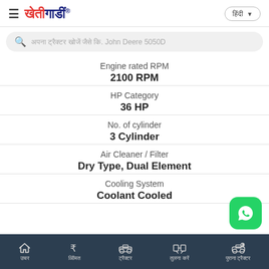खेतीगाडीं header with hamburger menu and language selector
Search bar: John Deere 5050D
Engine rated RPM
2100 RPM
HP Category
36 HP
No. of cylinder
3 Cylinder
Air Cleaner / Filter
Dry Type, Dual Element
Cooling System
Coolant Cooled
Bottom navigation bar with Home, Price, Tractor, Compare, Used Tractor icons